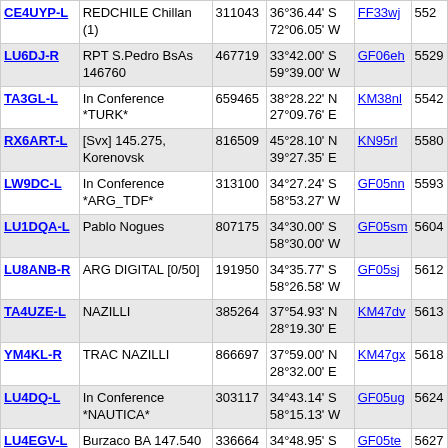| Callsign | Description | ID | Coordinates | Grid | Freq |
| --- | --- | --- | --- | --- | --- |
| CE4UYP-L | REDCHILE Chillan (1) | 311043 | 36°36.44' S 72°06.05' W | FF33wj | 552… |
| LU6DJ-R | RPT S.Pedro BsAs 146760 | 467719 | 33°42.00' S 59°39.00' W | GF06eh | 5529… |
| TA3GL-L | In Conference *TURK* | 659465 | 38°28.22' N 27°09.76' E | KM38nl | 5542… |
| RX6ART-L | [Svx] 145.275, Korenovsk | 816509 | 45°28.10' N 39°27.35' E | KN95rl | 5580… |
| LW9DC-L | In Conference *ARG_TDF* | 313100 | 34°27.24' S 58°53.27' W | GF05nn | 5593… |
| LU1DQA-L | Pablo Nogues | 807175 | 34°30.00' S 58°30.00' W | GF05sm | 5604… |
| LU8ANB-R | ARG DIGITAL [0/50] | 191950 | 34°35.77' S 58°26.58' W | GF05sj | 5612… |
| TA4UZE-L | NAZILLI | 385264 | 37°54.93' N 28°19.30' E | KM47dv | 5613… |
| YM4KL-R | TRAC NAZILLI | 866697 | 37°59.00' N 28°32.00' E | KM47gx | 5618… |
| LU4DQ-L | In Conference *NAUTICA* | 303117 | 34°43.14' S 58°15.13' W | GF05ug | 5624… |
| LU4EGV-L | Burzaco BA 147.540 T123 | 336664 | 34°48.95' S 58°22.93' W | GF05te | 5627… |
| LU3DY-R | Burzaco,Bs.As. Argentina | 691232 | 34°49.61' S 58°23.30' W | GF05te | 5628… |
| PY3YC-L | In Conference *PAMPA-RS* | 683414 | 33°30.64' S 53°24.28' W | GF36hl | 5657… |
| CY5A-L | UNION - Montevideo | 904046 | 34°52.00' S | GF15wd | 5670… |